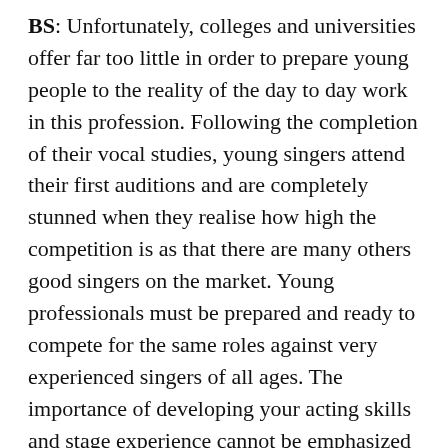BS: Unfortunately, colleges and universities offer far too little in order to prepare young people to the reality of the day to day work in this profession. Following the completion of their vocal studies, young singers attend their first auditions and are completely stunned when they realise how high the competition is as that there are many others good singers on the market. Young professionals must be prepared and ready to compete for the same roles against very experienced singers of all ages. The importance of developing your acting skills and stage experience cannot be emphasized enough, as this will give you the confidence to shine during an audition.
For this reason, many students decide to attend